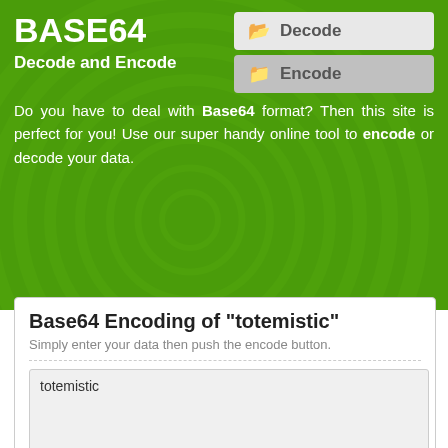BASE64
Decode and Encode
Do you have to deal with Base64 format? Then this site is perfect for you! Use our super handy online tool to encode or decode your data.
Base64 Encoding of "totemistic"
Simply enter your data then push the encode button.
totemistic